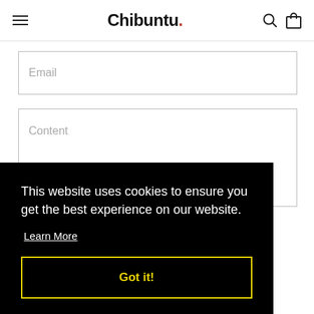Chibuntu.
Email
Content
This website uses cookies to ensure you get the best experience on our website.
Learn More
Got it!